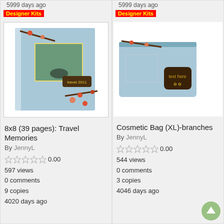5999 days ago
Designer Kits
5999 days ago
Designer Kits
[Figure (photo): Photo book cover: 8x8 Travel Memories scrapbook with travel 2011 label, branches and flowers decoration on blue background]
[Figure (photo): Cosmetic bag XL with branches and flowers on blue background, text here label]
8x8 (39 pages): Travel Memories
By JennyL
0.00
597 views
0 comments
9 copies
4020 days ago
Cosmetic Bag (XL)-branches
By JennyL
0.00
544 views
0 comments
3 copies
4046 days ago